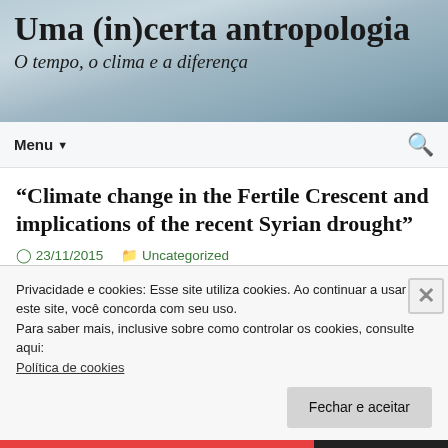Uma (in)certa antropologia
O tempo, o clima e a diferença
Menu
“Climate change in the Fertile Crescent and implications of the recent Syrian drought”
23/11/2015   Uncategorized
Privacidade e cookies: Esse site utiliza cookies. Ao continuar a usar este site, você concorda com seu uso.
Para saber mais, inclusive sobre como controlar os cookies, consulte aqui:
Política de cookies
Fechar e aceitar